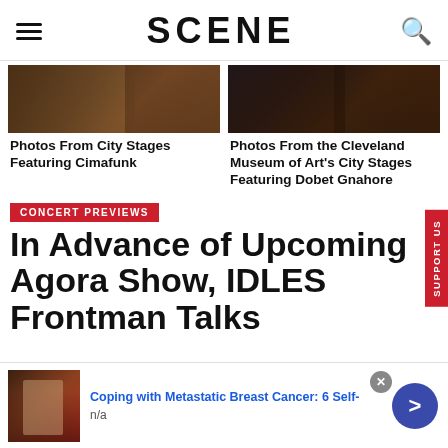SCENE
[Figure (photo): Concert photo showing musicians at City Stages with Cimafunk]
Photos From City Stages Featuring Cimafunk
[Figure (photo): Concert photo showing performer at Cleveland Museum of Art City Stages with Dobet Gnahore]
Photos From the Cleveland Museum of Art's City Stages Featuring Dobet Gnahore
CONCERT PREVIEWS
In Advance of Upcoming Agora Show, IDLES Frontman Talks
[Figure (photo): Advertisement thumbnail showing person sitting, related to Coping with Metastatic Breast Cancer article]
Coping with Metastatic Breast Cancer: 6 Self-
n/a